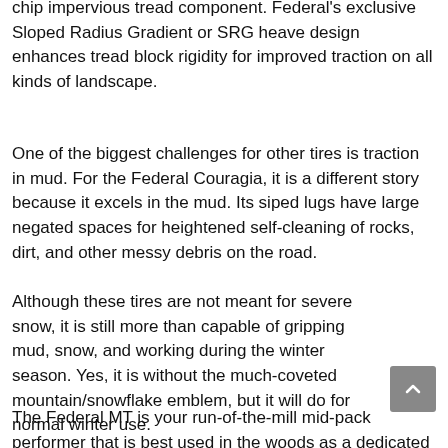chip impervious tread component. Federal's exclusive Sloped Radius Gradient or SRG heave design enhances tread block rigidity for improved traction on all kinds of landscape.
One of the biggest challenges for other tires is traction in mud. For the Federal Couragia, it is a different story because it excels in the mud. Its siped lugs have large negated spaces for heightened self-cleaning of rocks, dirt, and other messy debris on the road.
Although these tires are not meant for severe snow, it is still more than capable of gripping mud, snow, and working during the winter season. Yes, it is without the much-coveted mountain/snowflake emblem, but it will do for normal winter use.
The Federal MT is your run-of-the-mill mid-pack performer that is best used in the woods as a dedicated off-road...